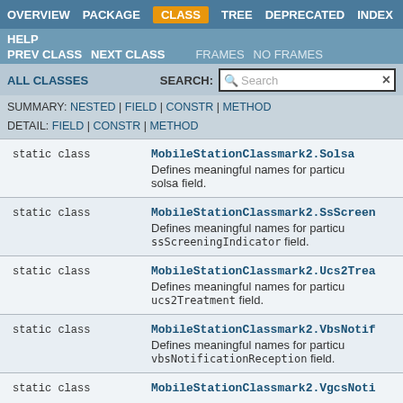OVERVIEW  PACKAGE  CLASS  TREE  DEPRECATED  INDEX
HELP
PREV CLASS  NEXT CLASS  FRAMES  NO FRAMES
ALL CLASSES  SEARCH:
SUMMARY: NESTED | FIELD | CONSTR | METHOD
DETAIL: FIELD | CONSTR | METHOD
|  |  |
| --- | --- |
| static class | MobileStationClassmark2.Solsa
Defines meaningful names for particu solsa field. |
| static class | MobileStationClassmark2.SsScreen
Defines meaningful names for particu ssScreeningIndicator field. |
| static class | MobileStationClassmark2.Ucs2Trea
Defines meaningful names for particu ucs2Treatment field. |
| static class | MobileStationClassmark2.VbsNotif
Defines meaningful names for particu vbsNotificationReception field. |
| static class | MobileStationClassmark2.VgcsNoti |